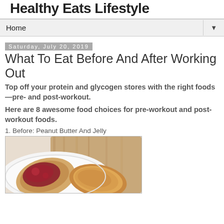Healthy Eats Lifestyle
Home
Saturday, July 20, 2019
What To Eat Before And After Working Out
Top off your protein and glycogen stores with the right foods—pre- and post-workout.
Here are 8 awesome food choices for pre-workout and post-workout foods.
1. Before: Peanut Butter And Jelly
[Figure (photo): Photo of peanut butter and jelly open-faced sandwiches on a white plate with a wooden cutting board in the background.]